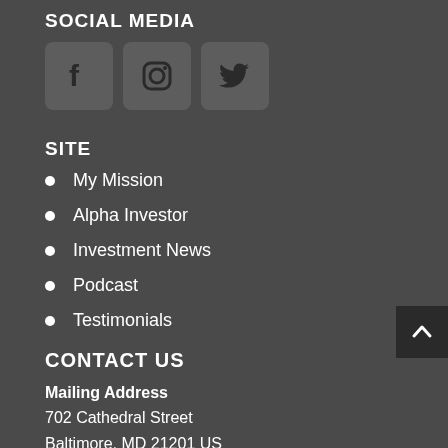SOCIAL MEDIA
[Figure (illustration): Three social media icons: Facebook (f), Instagram (camera), Twitter (bird), each in a rounded gray square]
SITE
My Mission
Alpha Investor
Investment News
Podcast
Testimonials
CONTACT US
Mailing Address
702 Cathedral Street
Baltimore, MD 21201 US
Payment Address